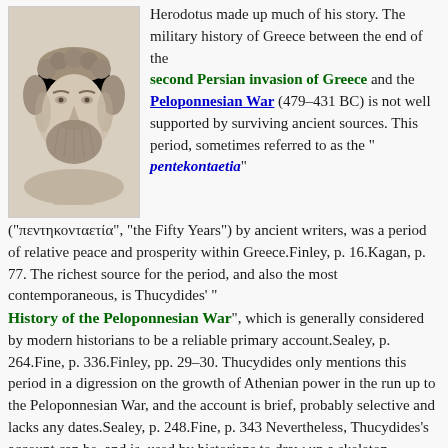[Figure (photo): Marble bust sculpture of an ancient Greek figure, likely Thucydides, shown from shoulders up with curly beard and hair.]
Herodotus made up much of his story. The military history of Greece between the end of the second Persian invasion of Greece and the Peloponnesian War (479–431 BC) is not well supported by surviving ancient sources. This period, sometimes referred to as the " pentekontaetia" ("πεντηκονταετία", "the Fifty Years") by ancient writers, was a period of relative peace and prosperity within Greece.Finley, p. 16.Kagan, p. 77. The richest source for the period, and also the most contemporaneous, is Thucydides' " History of the Peloponnesian War", which is generally considered by modern historians to be a reliable primary account.Sealey, p. 264.Fine, p. 336.Finley, pp. 29–30. Thucydides only mentions this period in a digression on the growth of Athenian power in the run up to the Peloponnesian War, and the account is brief, probably selective and lacks any dates.Sealey, p. 248.Fine, p. 343 Nevertheless, Thucydides's account can be, and is, used by historians to draw up a skeleton chronology for the period, on to which details from archaeological records and other writers can be superimposed. More detail for the whole period is provided by Plutarch, in his